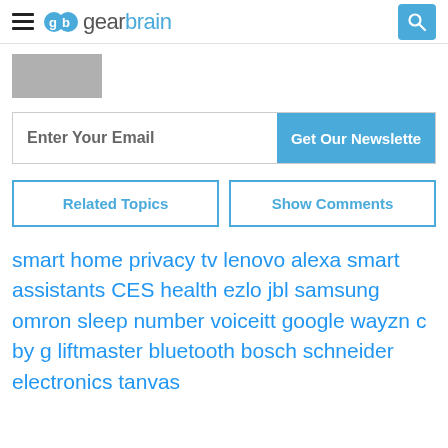gearbrain
[Figure (other): Gray rectangular image placeholder]
Enter Your Email | Get Our Newsletter
Related Topics | Show Comments
smart home privacy tv lenovo alexa smart assistants CES health ezlo jbl samsung omron sleep number voiceitt google wayzn c by g liftmaster bluetooth bosch schneider electronics tanvas